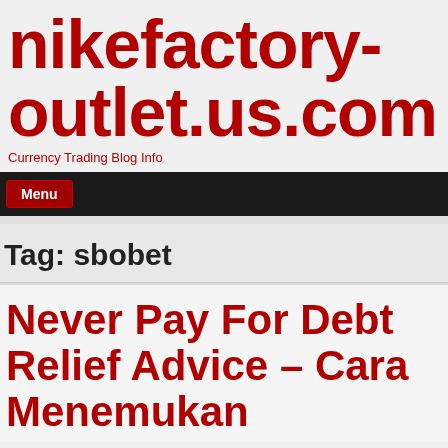nikefactory-outlet.us.com
Currency Trading Blog Info
Menu
Tag: sbobet
Never Pay For Debt Relief Advice – Cara Menemukan